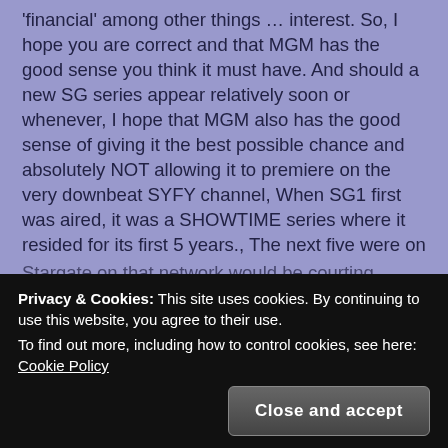'financial' among other things … interest. So, I hope you are correct and that MGM has the good sense you think it must have. And should a new SG series appear relatively soon or whenever, I hope that MGM also has the good sense of giving it the best possible chance and absolutely NOT allowing it to premiere on the very downbeat SYFY channel, When SG1 first was aired, it was a SHOWTIME series where it resided for its first 5 years., The next five were on SYFY – and it could easily still have continued when it was cancelled as it still had good ratings and the new cast additions had actually worked out well. But, of course, the dreaded SYFY 5 year rule wasn't so apparent as it has been in retrospect. And now,
Privacy & Cookies: This site uses cookies. By continuing to use this website, you agree to their use.
To find out more, including how to control cookies, see here: Cookie Policy
Close and accept
Stargate on that network would be courting disaster. So,